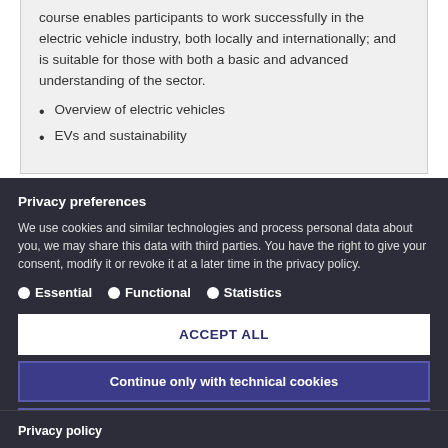course enables participants to work successfully in the electric vehicle industry, both locally and internationally; and is suitable for those with both a basic and advanced understanding of the sector.
Overview of electric vehicles
EVs and sustainability
Privacy preferences
We use cookies and similar technologies and process personal data about you, we may share this data with third parties. You have the right to give your consent, modify it or revoke it at a later time in the privacy policy.
Essential
Functional
Statistics
ACCEPT ALL
Continue only with technical cookies
Individual privacy preferences
Privacy policy